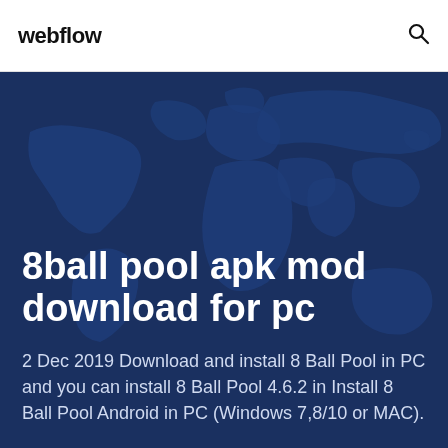webflow
8ball pool apk mod download for pc
2 Dec 2019 Download and install 8 Ball Pool in PC and you can install 8 Ball Pool 4.6.2 in Install 8 Ball Pool Android in PC (Windows 7,8/10 or MAC).